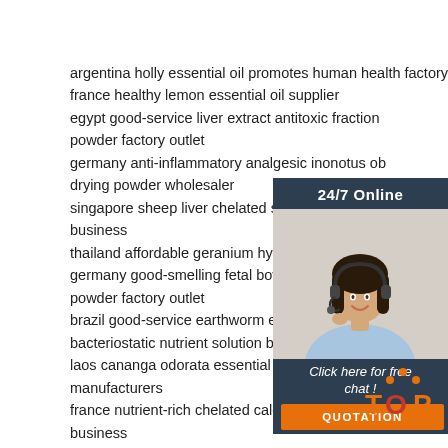argentina holly essential oil promotes human health factory
france healthy lemon essential oil supplier
egypt good-service liver extract antitoxic fraction powder factory outlet
germany anti-inflammatory analgesic inonotus obliquus freeze-drying powder wholesaler
singapore sheep liver chelated seleno peptide buy business
thailand affordable geranium hydrosol wholesaler
germany good-smelling fetal bovine bone polypeptide powder factory outlet
brazil good-service earthworm enzyme polypeptide bacteriostatic nutrient solution business
laos cananga odorata essential oil relieve anxiety direct manufacturers
france nutrient-rich chelated calcium ossotide drying powder business
great britain complete range turmeric extract drying powder
[Figure (infographic): 24/7 Online chat widget with a woman wearing a headset, showing 'Click here for free chat!' text and an orange QUOTATION button]
[Figure (logo): TOP logo with orange dots above the letters]